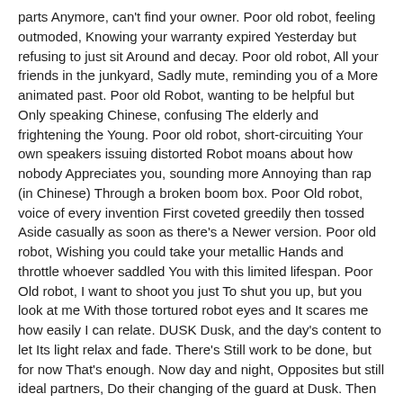parts Anymore, can't find your owner. Poor old robot, feeling outmoded, Knowing your warranty expired Yesterday but refusing to just sit Around and decay. Poor old robot, All your friends in the junkyard, Sadly mute, reminding you of a More animated past. Poor old Robot, wanting to be helpful but Only speaking Chinese, confusing The elderly and frightening the Young. Poor old robot, short-circuiting Your own speakers issuing distorted Robot moans about how nobody Appreciates you, sounding more Annoying than rap (in Chinese) Through a broken boom box. Poor Old robot, voice of every invention First coveted greedily then tossed Aside casually as soon as there's a Newer version. Poor old robot, Wishing you could take your metallic Hands and throttle whoever saddled You with this limited lifespan. Poor Old robot, I want to shoot you just To shut you up, but you look at me With those tortured robot eyes and It scares me how easily I can relate. DUSK Dusk, and the day's content to let Its light relax and fade. There's Still work to be done, but for now That's enough. Now day and night, Opposites but still ideal partners, Do their changing of the guard at Dusk. Then the light disappears, No one knows where to and no One asks. After all it does for us, It's entitled to its privacy. There's A time to shine as bright as you can, And a time to do nothing more than Enjoy being alive. In the long run, It's the steadiness that counts, Finding a comfortable rhythm that Won't grind you down. Day and Night split their time equally, We Should Learn from that. BEING TOOLS Being